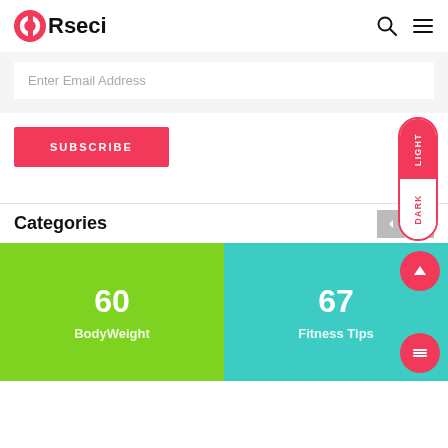[Figure (screenshot): Website header with ORseci logo (pink circle icon with white O shape and text 'Rseci'), search icon, and hamburger menu icon]
Enter Email Address
SUBSCRIBE
LIGHT
DARK
Categories
60
BodyWeight
67
Fitness Tips